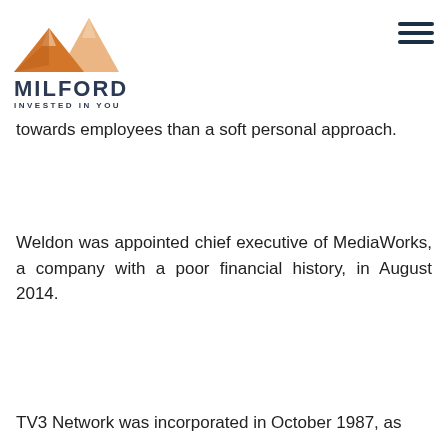[Figure (logo): Milford Asset Management logo with orange mountain graphic above text 'MILFORD' and tagline 'INVESTED IN YOU']
towards employees than a soft personal approach.
Weldon was appointed chief executive of MediaWorks, a company with a poor financial history, in August 2014.
TV3 Network was incorporated in October 1987, as